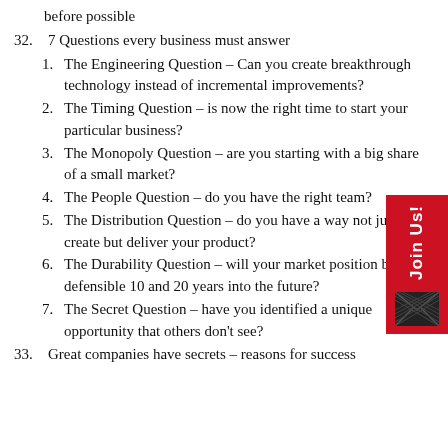before possible
32. 7 Questions every business must answer
1. The Engineering Question – Can you create breakthrough technology instead of incremental improvements?
2. The Timing Question – is now the right time to start your particular business?
3. The Monopoly Question – are you starting with a big share of a small market?
4. The People Question – do you have the right team?
5. The Distribution Question – do you have a way not just create but deliver your product?
6. The Durability Question – will your market position be defensible 10 and 20 years into the future?
7. The Secret Question – have you identified a unique opportunity that others don't see?
33. Great companies have secrets – reasons for success that others have overlooked